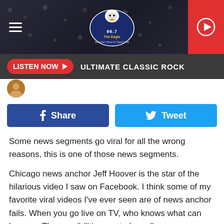[Figure (screenshot): 96.7 The Eagle radio station logo/header with hamburger menu icon on left and play button on right]
LISTEN NOW ▶  ULTIMATE CLASSIC ROCK
[Figure (other): Small circular avatar/profile photo thumbnail]
Share   Tweet (social share buttons)
Some news segments go viral for all the wrong reasons, this is one of those news segments.
Chicago news anchor Jeff Hoover is the star of the hilarious video I saw on Facebook. I think some of my favorite viral videos I've ever seen are of news anchor fails. When you go live on TV, who knows what can happen. The possibilities are truly endless.
From people popping into the camera saying ridiculous stuff,